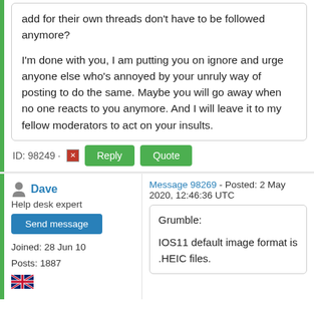add for their own threads don't have to be followed anymore?

I'm done with you, I am putting you on ignore and urge anyone else who's annoyed by your unruly way of posting to do the same. Maybe you will go away when no one reacts to you anymore. And I will leave it to my fellow moderators to act on your insults.
ID: 98249 · Reply Quote
Dave
Help desk expert
Send message
Joined: 28 Jun 10
Posts: 1887
Message 98269 - Posted: 2 May 2020, 12:46:36 UTC
Grumble:

IOS11 default image format is .HEIC files.